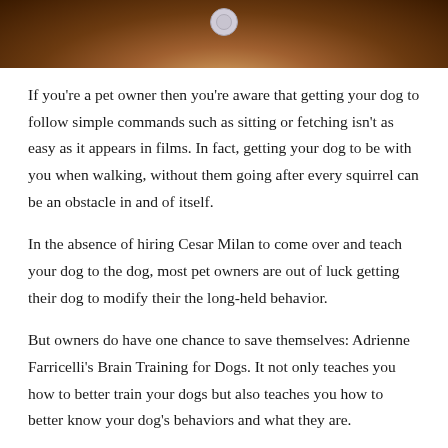[Figure (photo): Close-up photo of a brown/golden dog with a circular tag/medal visible at the top center of the image]
If you're a pet owner then you're aware that getting your dog to follow simple commands such as sitting or fetching isn't as easy as it appears in films. In fact, getting your dog to be with you when walking, without them going after every squirrel can be an obstacle in and of itself.
In the absence of hiring Cesar Milan to come over and teach your dog to the dog, most pet owners are out of luck getting their dog to modify their the long-held behavior.
But owners do have one chance to save themselves: Adrienne Farricelli's Brain Training for Dogs. It not only teaches you how to better train your dogs but also teaches you how to better know your dog's behaviors and what they are.